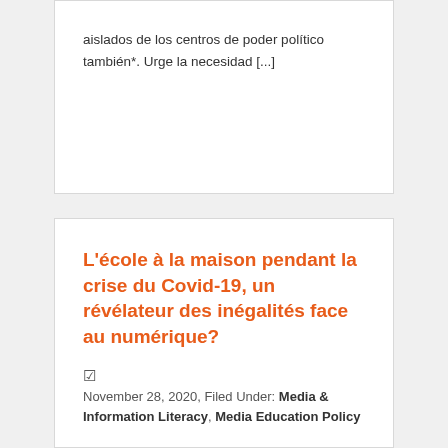aislados de los centros de poder político también*. Urge la necesidad [...]
L'école à la maison pendant la crise du Covid-19, un révélateur des inégalités face au numérique?
November 28, 2020, Filed Under: Media & Information Literacy, Media Education Policy
La crise sanitaire du Covid-19 a amené le gouvernement suisse à ordonner la fermeture des écoles pendant près de deux mois. La fermeture subite des établissements scolaires et l'instauration de l'école à distance a bouleversé les manières d'enseigner et d'apprendre. Le corps enseignant et les familles ont dû redéfinir leurs rôles dans l'urgence, tandis que [...]